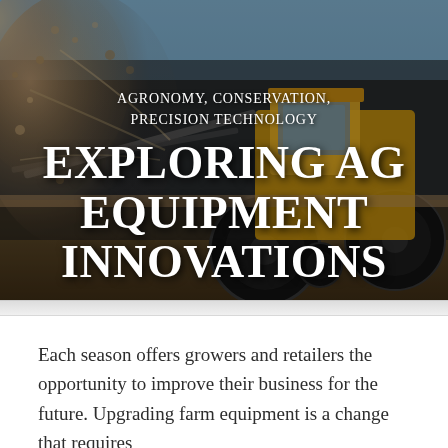[Figure (photo): A large agricultural tractor working in a field, spraying or tilling soil with a large debris/dust cloud on the left side. The tractor is yellow/gold colored against a blue sky background. The ground shows dark tilled soil.]
AGRONOMY, CONSERVATION, PRECISION TECHNOLOGY
EXPLORING AG EQUIPMENT INNOVATIONS
Each season offers growers and retailers the opportunity to improve their business for the future. Upgrading farm equipment is a change that requires